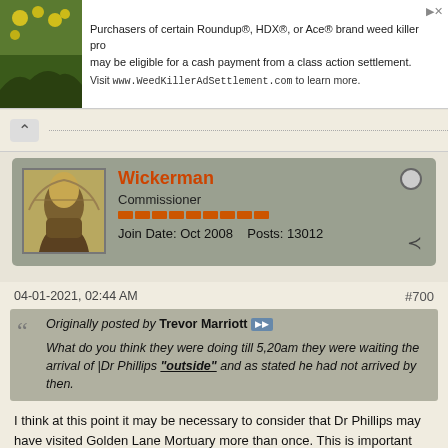[Figure (screenshot): Advertisement banner for WeedKillerAdSettlement.com with plant image on left and text about Roundup, HDX, Ace brand weed killer class action settlement]
Purchasers of certain Roundup®, HDX®, or Ace® brand weed killer pro may be eligible for a cash payment from a class action settlement. Visit www.WeedKillerAdSettlement.com to learn more.
[Figure (screenshot): Forum post user card showing Wickerman, Commissioner, with avatar, reputation bars, Join Date Oct 2008, Posts 13012]
04-01-2021, 02:44 AM
#700
Originally posted by Trevor Marriott
What do you think they were doing till 5,20am they were waiting the arrival of |Dr Phillips "outside" and as stated he had not arrived by then.
I think at this point it may be necessary to consider that Dr Phillips may have visited Golden Lane Mortuary more than once. This is important because it is stated by Dr Brown that Dr Phillips is the one who brought the GS piece to Golden Lane.
- We have a handful of reports which suggest Dr Brown immediately